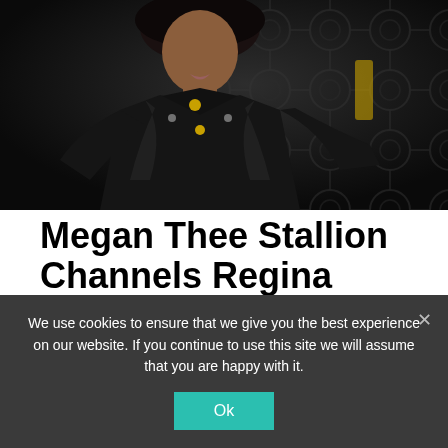[Figure (photo): Fashion photo of Megan Thee Stallion wearing a black leather coat with gold hardware, posed against an ornate dark metal gate background]
Megan Thee Stallion Channels Regina George For Coach Autumn/Winter Campaign | Fashion News
We use cookies to ensure that we give you the best experience on our website. If you continue to use this site we will assume that you are happy with it.